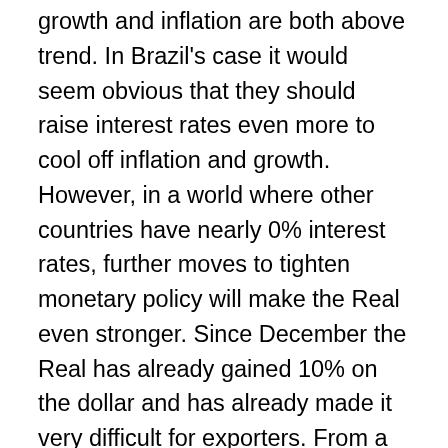growth and inflation are both above trend. In Brazil's case it would seem obvious that they should raise interest rates even more to cool off inflation and growth. However, in a world where other countries have nearly 0% interest rates, further moves to tighten monetary policy will make the Real even stronger. Since December the Real has already gained 10% on the dollar and has already made it very difficult for exporters. From a personal level, it is clear to me that the Real is already overvalued when I travel to countries like Argentina and the same things cost less than half the price. This marked difference is especially difficult to understand when Argentina is actually a more